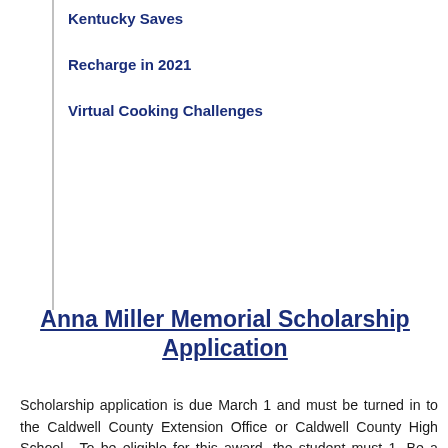Kentucky Saves
Recharge in 2021
Virtual Cooking Challenges
Anna Miller Memorial Scholarship Application
Scholarship application is due March 1 and must be turned in to the Caldwell County Extension Office or Caldwell County High School.  To be eligible for this award, the student must 1. Be a child or grandchild of a parent or legal guardian who is an active member of a Caldwell County Extension Homemakers Club for the past two years.  An active member is one that attends eight meetings a year and presents at least one lesson during the year.  2. Be a graduating senior of Caldwell County High School. 3. Have made application to and been accepted by a post-